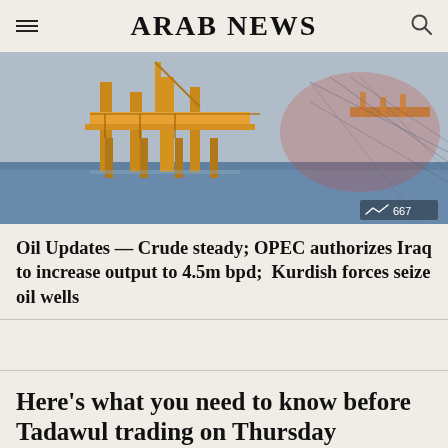ARAB NEWS
[Figure (photo): Offshore oil platform/rig on the sea, industrial equipment visible, with a trending icon and count '667' in the lower right corner]
Oil Updates — Crude steady; OPEC authorizes Iraq to increase output to 4.5m bpd;  Kurdish forces seize oil wells
Here's what you need to know before Tadawul trading on Thursday